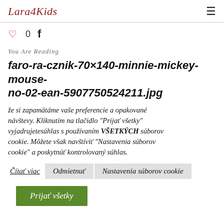Lara4Kids
♡ 0  f
You Are Reading
faro-ra-cznik-70×140-minnie-mickey-mouse-no-02-ean-5907750524211.jpg
že si zapamätáme vaše preferencie a opakované návštevy. Kliknutím na tlačidlo "Prijať všetky" vyjadrujetesúhlas s používaním VŠETKÝCH súborov cookie. Môžete však navštíviť "Nastavenia súborov cookie" a poskytnúť kontrolovaný súhlas.
Čítať viac   Odmietnuť   Nastavenia súborov cookie
Prijať všetky